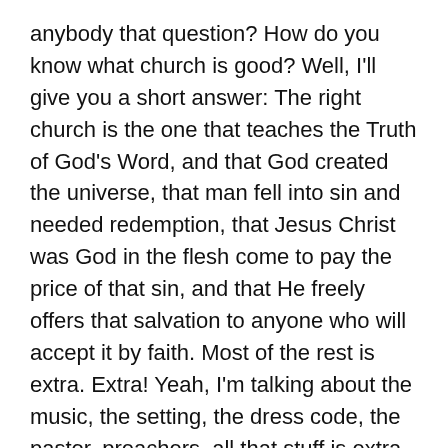anybody that question? How do you know what church is good? Well, I'll give you a short answer: The right church is the one that teaches the Truth of God's Word, and that God created the universe, that man fell into sin and needed redemption, that Jesus Christ was God in the flesh come to pay the price of that sin, and that He freely offers that salvation to anyone who will accept it by faith. Most of the rest is extra. Extra! Yeah, I'm talking about the music, the setting, the dress code, the pastor, preachers, all that stuff is extra. We kind of go to church sometimes because it's what makes us comfortable, or what we'd like to see or do. Is it important to God? No. Not necessarily. So, be careful about what keeps you going to a church, or keeps you from church when the most important thing is Jesus. Just in case you want to shout me out or holler at me or scream at me or say "thank you" or "how dare you?" — I'll take it all — pastor@speaklifechurch.net is my email address. You can